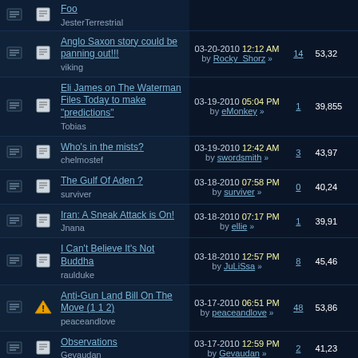Foo / JesterTerrestrial
Anglo Saxon story could be panning out!!! - viking - 03-20-2010 12:12 AM by Rocky_Shorz - 14 replies - 53,320 views
Eli James on The Waterman Files Today to make "predictions" - Tobias - 03-19-2010 05:04 PM by eMonkey - 1 reply - 39,855 views
Who's in the mists? - chelmostef - 03-19-2010 12:42 AM by swordsmith - 3 replies - 43,973 views
The Gulf Of Aden ? - surviver - 03-18-2010 07:58 PM by surviver - 0 replies - 40,242 views
Iran: A Sneak Attack is On! - Jnana - 03-18-2010 07:17 PM by ellie - 1 reply - 39,910 views
I Can't Believe It's Not Buddha - raulduke - 03-18-2010 12:57 PM by JuLiSsa - 8 replies - 45,468 views
Anti-Gun Land Bill On The Move (1 2) - peaceandlove - 03-17-2010 06:51 PM by peaceandlove - 48 replies - 53,869 views
Observations - Gevaudan - 03-17-2010 12:59 PM by Gevaudan - 2 replies - 41,233 views
Half Past Human - 03-16-2010 09:17 PM